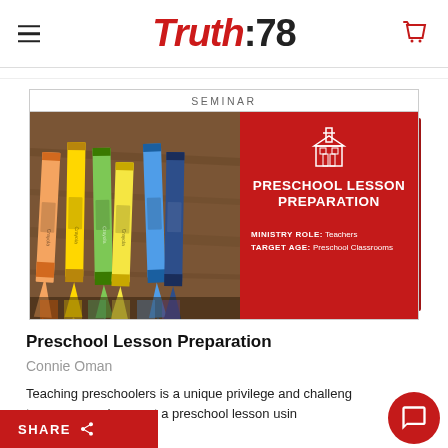Truth:78
[Figure (illustration): Seminar product card showing Preschool Lesson Preparation. Left half has photo of colorful Crayola crayons on a wooden surface. Right half is a red panel with a church icon, title 'PRESCHOOL LESSON PREPARATION', MINISTRY ROLE: Teachers, TARGET AGE: Preschool Classrooms. Above card is label SEMINAR.]
Preschool Lesson Preparation
Connie Oman
Teaching preschoolers is a unique privilege and challenge...to prepare and present a preschool lesson using